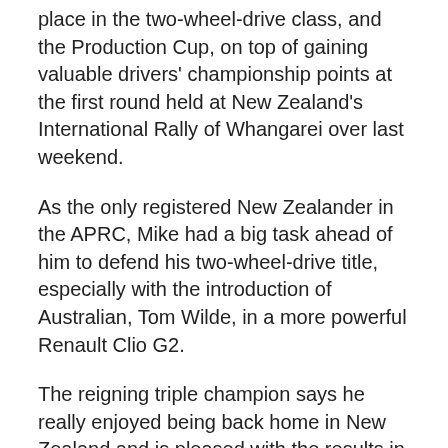place in the two-wheel-drive class, and the Production Cup, on top of gaining valuable drivers' championship points at the first round held at New Zealand's International Rally of Whangarei over last weekend.
As the only registered New Zealander in the APRC, Mike had a big task ahead of him to defend his two-wheel-drive title, especially with the introduction of Australian, Tom Wilde, in a more powerful Renault Clio G2.
The reigning triple champion says he really enjoyed being back home in New Zealand and is pleased with the results in his Cusco Racing Proton Satria Neo.
"Obviously, it's always good to come home to compete on the roads I grew up on, and catch up with all my friends and family. But the most important thing for us, for the first round, was scoring points for the two-wheel-